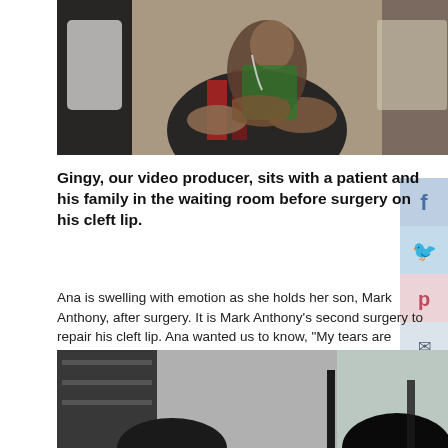[Figure (photo): A woman holds a young child/patient in a waiting room. A person in white (likely medical staff) is partially visible on the left.]
Gingy, our video producer, sits with a patient and his family in the waiting room before surgery on his cleft lip.
Ana is swelling with emotion as she holds her son, Mark Anthony, after surgery. It is Mark Anthony's second surgery to repair his cleft lip. Ana wanted us to know, "My tears are happy."
[Figure (photo): A second photo showing patients or individuals, partially visible at the bottom of the page.]